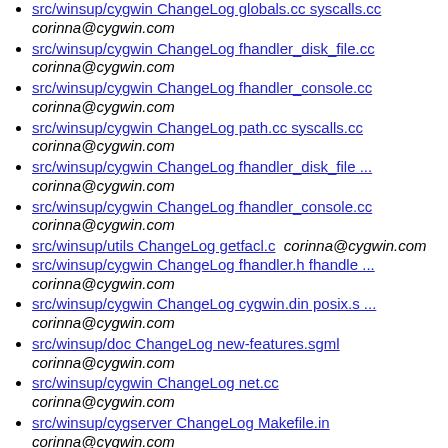src/winsup/cygwin ChangeLog globals.cc syscalls.cc
corinna@cygwin.com
src/winsup/cygwin ChangeLog fhandler_disk_file.cc
corinna@cygwin.com
src/winsup/cygwin ChangeLog fhandler_console.cc
corinna@cygwin.com
src/winsup/cygwin ChangeLog path.cc syscalls.cc
corinna@cygwin.com
src/winsup/cygwin ChangeLog fhandler_disk_file ...
corinna@cygwin.com
src/winsup/cygwin ChangeLog fhandler_console.cc
corinna@cygwin.com
src/winsup/utils ChangeLog getfacl.c  corinna@cygwin.com
src/winsup/cygwin ChangeLog fhandler.h fhandle ...
corinna@cygwin.com
src/winsup/cygwin ChangeLog cygwin.din posix.s ...
corinna@cygwin.com
src/winsup/doc ChangeLog new-features.sgml
corinna@cygwin.com
src/winsup/cygwin ChangeLog net.cc
corinna@cygwin.com
src/winsup/cygserver ChangeLog Makefile.in
corinna@cygwin.com
src/winsup/doc ChangeLog pathnames.sgml
corinna@cygwin.com